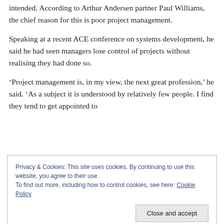intended. According to Arthur Andersen partner Paul Williams, the chief reason for this is poor project management.
Speaking at a recent ACE conference on systems development, he said he had seen managers lose control of projects without realising they had done so.
‘Project management is, in my view, the next great profession,’ he said. ‘As a subject it is understood by relatively few people. I find they tend to get appointed to
Privacy & Cookies: This site uses cookies. By continuing to use this website, you agree to their use.
To find out more, including how to control cookies, see here: Cookie Policy